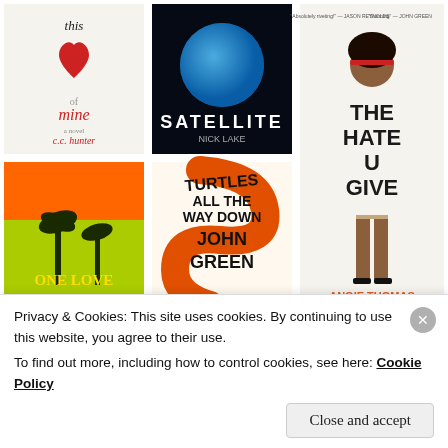[Figure (photo): Grid of book covers: 'This Heart of Mine' by C.C. Hunter, 'Satellite' by Nick Lake, 'One Love', 'Turtles All the Way Down' by John Green, 'The Hate U Give' by Angie Thomas (large, right column), plus partial book covers in bottom row. Star rating (5 stars) shown below The Hate U Give cover.]
Privacy & Cookies: This site uses cookies. By continuing to use this website, you agree to their use.
To find out more, including how to control cookies, see here: Cookie Policy